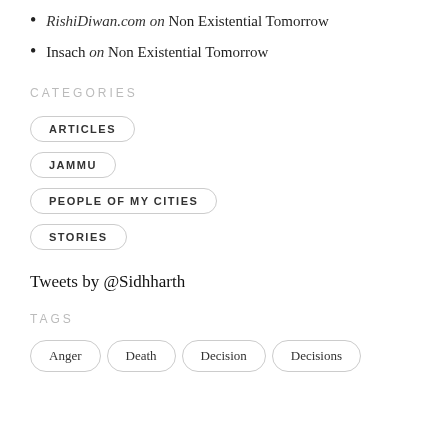RishiDiwan.com on Non Existential Tomorrow
Insach on Non Existential Tomorrow
CATEGORIES
ARTICLES
JAMMU
PEOPLE OF MY CITIES
STORIES
Tweets by @Sidhharth
TAGS
Anger
Death
Decision
Decisions